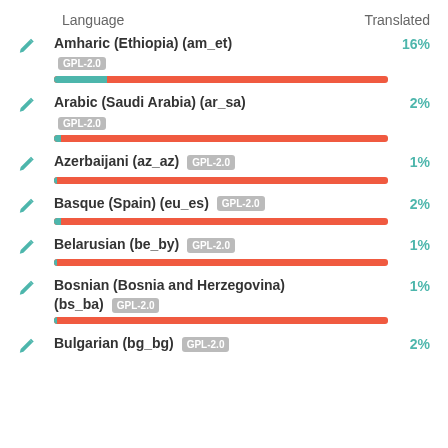| Language | Translated |
| --- | --- |
| Amharic (Ethiopia) (am_et) GPL-2.0 | 16% |
| Arabic (Saudi Arabia) (ar_sa) GPL-2.0 | 2% |
| Azerbaijani (az_az) GPL-2.0 | 1% |
| Basque (Spain) (eu_es) GPL-2.0 | 2% |
| Belarusian (be_by) GPL-2.0 | 1% |
| Bosnian (Bosnia and Herzegovina) (bs_ba) GPL-2.0 | 1% |
| Bulgarian (bg_bg) GPL-2.0 | 2% |